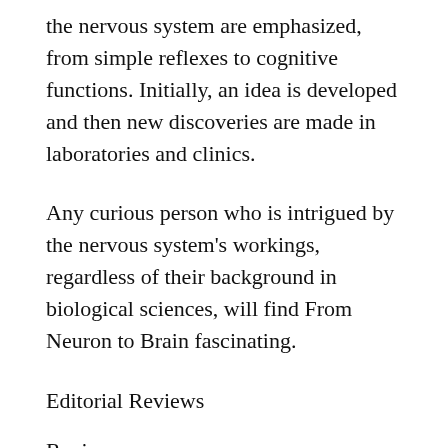the nervous system are emphasized, from simple reflexes to cognitive functions. Initially, an idea is developed and then new discoveries are made in laboratories and clinics.
Any curious person who is intrigued by the nervous system's workings, regardless of their background in biological sciences, will find From Neuron to Brain fascinating.
Editorial Reviews
Review
I found that From Neuron to Brain gave the most comprehensive coverage of the topics for